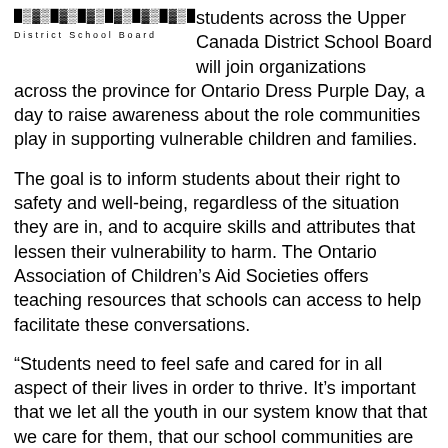[Figure (logo): Upper Canada District School Board logo with bold striped text pattern and 'District School Board' text below]
students across the Upper Canada District School Board will join organizations across the province for Ontario Dress Purple Day, a day to raise awareness about the role communities play in supporting vulnerable children and families.
The goal is to inform students about their right to safety and well-being, regardless of the situation they are in, and to acquire skills and attributes that lessen their vulnerability to harm. The Ontario Association of Children's Aid Societies offers teaching resources that schools can access to help facilitate these conversations.
“Students need to feel safe and cared for in all aspect of their lives in order to thrive. It’s important that we let all the youth in our system know that that we care for them, that our school communities are safe places for them, and we will do what we can to ensure they are safe,” says Chair John McAllister.